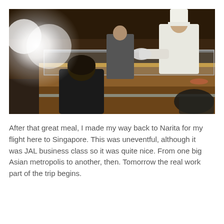[Figure (photo): Interior of a sushi restaurant with a wooden sushi counter. A chef in white uniform and tall white hat is working behind the counter. A customer in black is seated at the counter. Bright light flare visible on the left side of the image.]
After that great meal, I made my way back to Narita for my flight here to Singapore. This was uneventful, although it was JAL business class so it was quite nice. From one big Asian metropolis to another, then. Tomorrow the real work part of the trip begins.